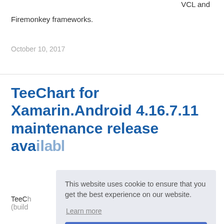VCL and
Firemonkey frameworks.
October 10, 2017
TeeChart for Xamarin.Android 4.16.7.11 maintenance release available
TeeChart ... (build ...
July 1...
This website uses cookie to ensure that you get the best experience on our website.
Learn more
Got it!